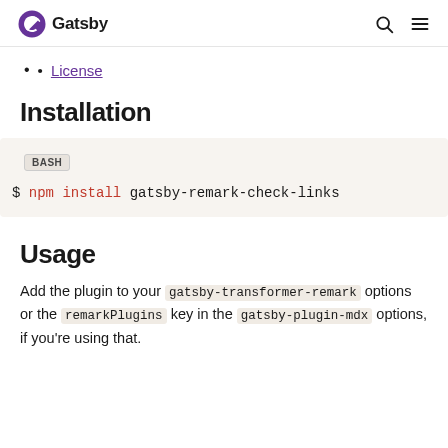Gatsby
License
Installation
BASH
$ npm install gatsby-remark-check-links
Usage
Add the plugin to your gatsby-transformer-remark options or the remarkPlugins key in the gatsby-plugin-mdx options, if you're using that.